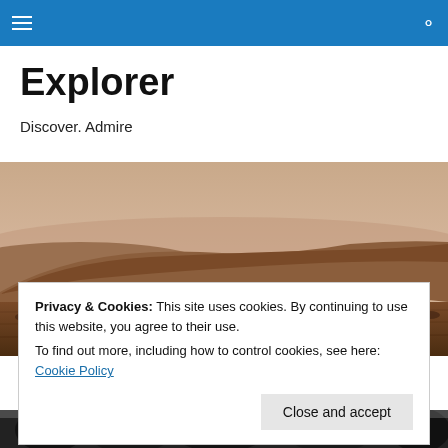Explorer — navigation bar with hamburger menu and search icon
Explorer
Discover. Admire
[Figure (photo): Panoramic landscape photo of arid hills with brown/orange terrain under a hazy pinkish-grey sky]
Privacy & Cookies: This site uses cookies. By continuing to use this website, you agree to their use.
To find out more, including how to control cookies, see here: Cookie Policy
Close and accept
[Figure (photo): Partial photo at bottom — dark trees or vegetation visible against a lighter background]